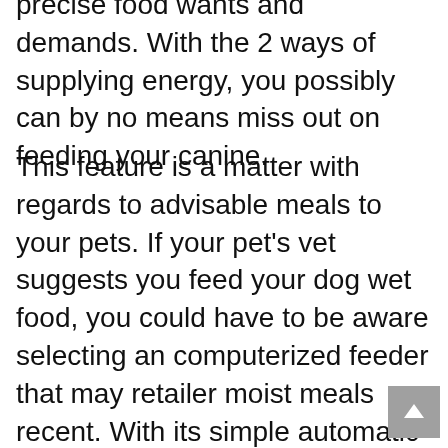precise food wants and demands. With the 2 ways of supplying energy, you possibly can by no means miss out on feeding your canine.
This feature is a matter with regards to advisable meals to your pets. If your pet's vet suggests you feed your dog wet food, you could have to be aware selecting an computerized feeder that may retailer moist meals recent. With its simple automatic dog feeder setting, you may choose the time and measurement for each meal hassle-free. That is splendid for a medium-sized canine. The time is ready in army time so when you have a problem or problem utilizing that, this might not be the feeder for you.
Protect your pet's meals and preserve bugs away with the Finest Pet Feeder. Okay now you know what to look out for if you end up ready to buy an Automated dog feeder Canine Feeder, let's take a look on the what